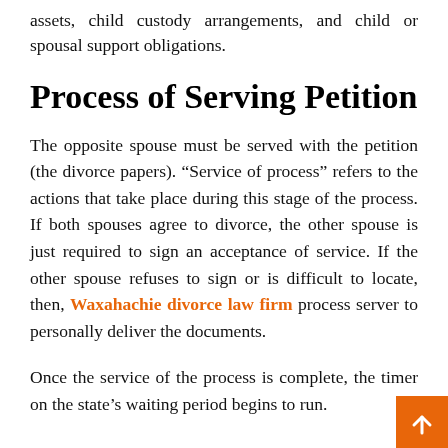assets, child custody arrangements, and child or spousal support obligations.
Process of Serving Petition
The opposite spouse must be served with the petition (the divorce papers). “Service of process” refers to the actions that take place during this stage of the process. If both spouses agree to divorce, the other spouse is just required to sign an acceptance of service. If the other spouse refuses to sign or is difficult to locate, then, Waxahachie divorce law firm process server to personally deliver the documents.
Once the service of the process is complete, the timer on the state’s waiting period begins to run.